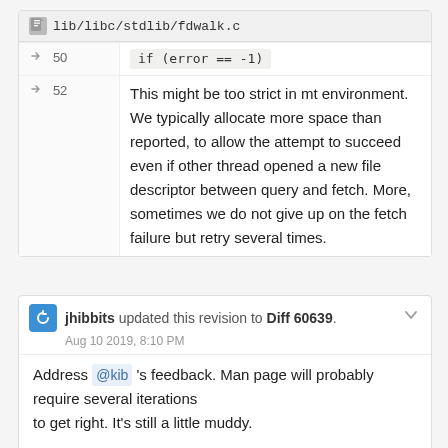lib/libc/stdlib/fdwalk.c
50  if (error == -1)
52  This might be too strict in mt environment. We typically allocate more space than reported, to allow the attempt to succeed even if other thread opened a new file descriptor between query and fetch. More, sometimes we do not give up on the fetch failure but retry several times.
jhibbits updated this revision to Diff 60639.
Aug 10 2019, 8:10 PM
Address @kib 's feedback. Man page will probably require several iterations
to get right. It's still a little muddy.

I noted in the source that we should add a new sysctl to give us just
the